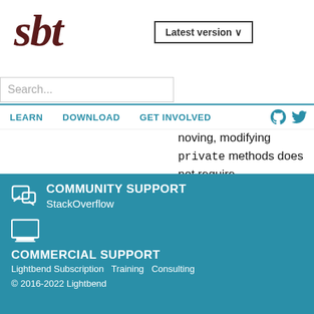sbt
Latest version ∨
Search...
noving, modifying private methods does not require recompilation of client classes. Therefore, suppose you add a method to a class with a lot of dependencies, and that this method is only used in the declaring class; marking it private
LEARN   DOWNLOAD   GET INVOLVED
COMMUNITY SUPPORT
StackOverflow
COMMERCIAL SUPPORT
Lightbend Subscription   Training   Consulting
© 2016-2022 Lightbend